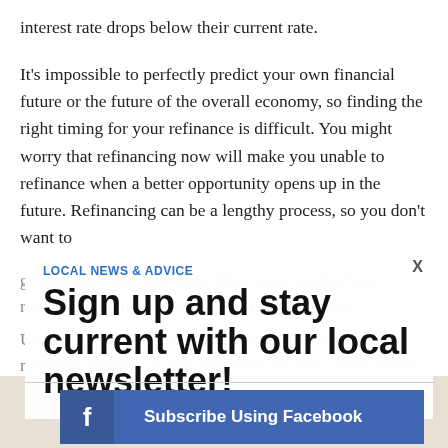interest rate drops below their current rate.
It’s impossible to perfectly predict your own financial future or the future of the overall economy, so finding the right timing for your refinance is difficult. You might worry that refinancing now will make you unable to refinance when a better opportunity opens up in the future. Refinancing can be a lengthy process, so you don’t want to go through it over and over. Also, some lenders have restrictions on how frequently you can refinance.
Understanding your goals and circumstances on the mortgage market can help you make the best choice within your current circumstances.
LOCAL NEWS & ADVICE
Sign up and stay current with our local newsletter!
[Figure (other): Subscribe Using Facebook button with Facebook icon on blue background]